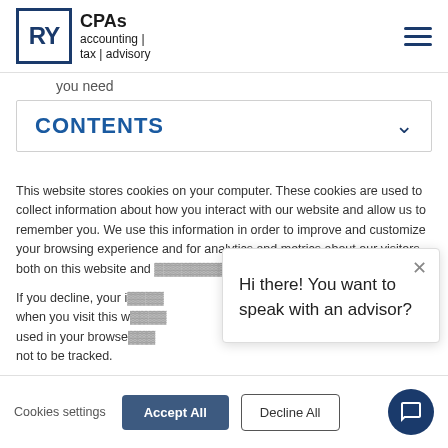RY CPAs accounting | tax | advisory
you need
CONTENTS
This website stores cookies on your computer. These cookies are used to collect information about how you interact with our website and allow us to remember you. We use this information in order to improve and customize your browsing experience and for analytics and metrics about our visitors both on this website and about the cookies w...
If you decline, your i... when you visit this w... used in your browse... not to be tracked.
Hi there! You want to speak with an advisor?
Cookies settings   Accept All   Decline All